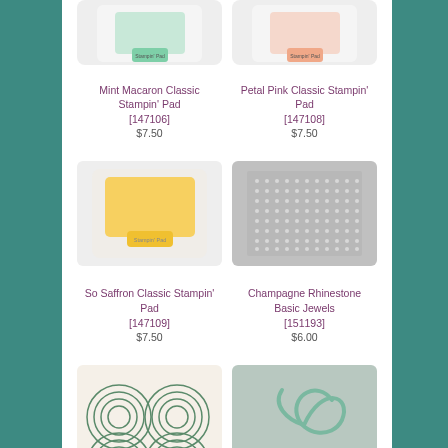[Figure (photo): Mint Macaron Classic Stampin' Pad - ink pad with mint/teal color, partially cut off at top]
[Figure (photo): Petal Pink Classic Stampin' Pad - ink pad with pink color, partially cut off at top]
Mint Macaron Classic Stampin' Pad [147106] $7.50
Petal Pink Classic Stampin' Pad [147108] $7.50
[Figure (photo): So Saffron Classic Stampin' Pad - yellow ink pad]
[Figure (photo): Champagne Rhinestone Basic Jewels - grid of small rhinestones on gray background]
So Saffron Classic Stampin' Pad [147109] $7.50
Champagne Rhinestone Basic Jewels [151193] $6.00
[Figure (photo): Stitched circle die cuts on white/cream background - shows nested circle outlines]
[Figure (photo): Mint ribbon coiled on gray background]